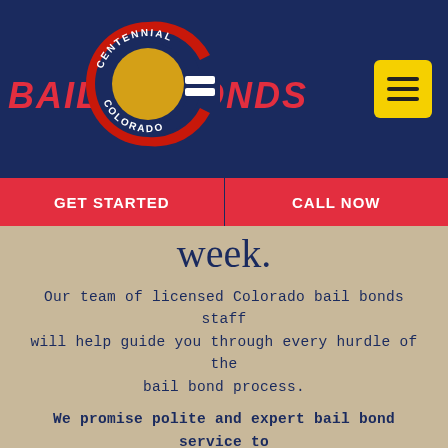[Figure (logo): Centennial Bail Bonds Colorado logo with red C shape, gold miner figure inside, and text BAIL BONDS in red italic letters on dark navy background, plus yellow hamburger menu icon]
GET STARTED
CALL NOW
week.
Our team of licensed Colorado bail bonds staff will help guide you through every hurdle of the bail bond process.
We promise polite and expert bail bond service to every person who needs it in a friendly and helpful environment.